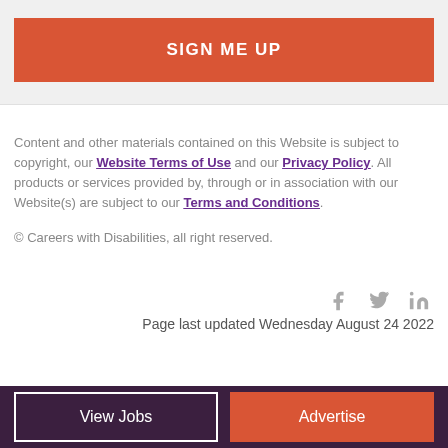[Figure (other): Orange 'SIGN ME UP' button inside a light grey box]
Content and other materials contained on this Website is subject to copyright, our Website Terms of Use and our Privacy Policy. All products or services provided by, through or in association with our Website(s) are subject to our Terms and Conditions.
© Careers with Disabilities, all right reserved.
[Figure (other): Social media icons: Facebook (f), Twitter (bird), LinkedIn (in)]
Page last updated Wednesday August 24 2022
View Jobs | Advertise